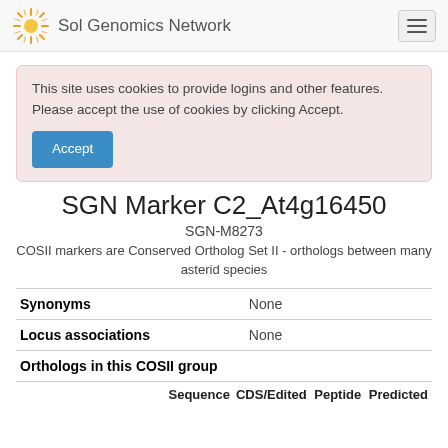Sol Genomics Network
This site uses cookies to provide logins and other features. Please accept the use of cookies by clicking Accept.
SGN Marker C2_At4g16450
SGN-M8273
COSII markers are Conserved Ortholog Set II - orthologs between many asterid species
|  |  |
| --- | --- |
| Synonyms | None |
| Locus associations | None |
| Orthologs in this COSII group |  |
Sequence   CDS/Edited   Peptide   Predicted